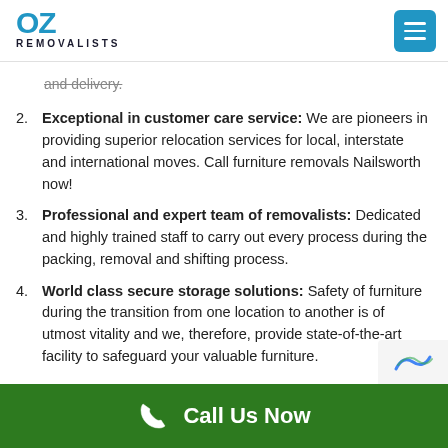OZ REMOVALISTS
and delivery.
2. Exceptional in customer care service: We are pioneers in providing superior relocation services for local, interstate and international moves. Call furniture removals Nailsworth now!
3. Professional and expert team of removalists: Dedicated and highly trained staff to carry out every process during the packing, removal and shifting process.
4. World class secure storage solutions: Safety of furniture during the transition from one location to another is of utmost vitality and we, therefore, provide state-of-the-art facility to safeguard your valuable furniture.
Call Us Now